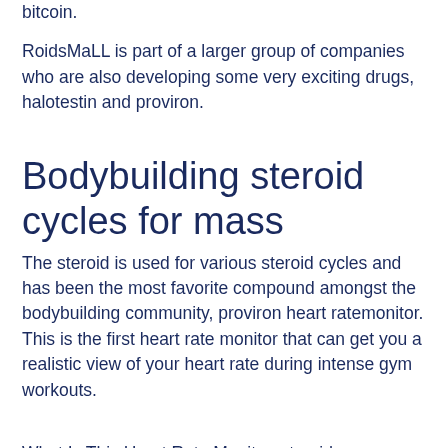bitcoin.
RoidsMaLL is part of a larger group of companies who are also developing some very exciting drugs, halotestin and proviron.
Bodybuilding steroid cycles for mass
The steroid is used for various steroid cycles and has been the most favorite compound amongst the bodybuilding community, proviron heart ratemonitor. This is the first heart rate monitor that can get you a realistic view of your heart rate during intense gym workouts.
What Is This Heart Rate Monitor, steroid